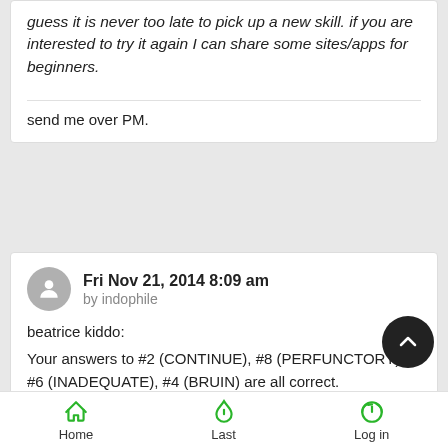guess it is never too late to pick up a new skill. if you are interested to try it again I can share some sites/apps for beginners.
send me over PM.
Fri Nov 21, 2014 8:09 am by indophile
beatrice kiddo:
Your answers to #2 (CONTINUE), #8 (PERFUNCTORY), #6 (INADEQUATE), #4 (BRUIN) are all correct. Yes, I did not give the correct letter count on PERFUNCTORY.
Home   Last   Log in